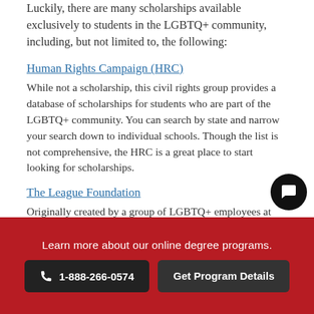Luckily, there are many scholarships available exclusively to students in the LGBTQ+ community, including, but not limited to, the following:
Human Rights Campaign (HRC)
While not a scholarship, this civil rights group provides a database of scholarships for students who are part of the LGBTQ+ community. You can search by state and narrow your search down to individual schools. Though the list is not comprehensive, the HRC is a great place to start looking for scholarships.
The League Foundation
Originally created by a group of LGBTQ+ employees at AT&T, this is a nonprofit organization focused on
Learn more about our online degree programs.
1-888-266-0574
Get Program Details